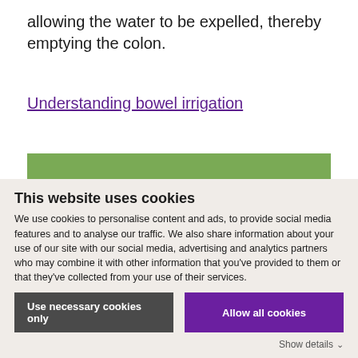allowing the water to be expelled, thereby emptying the colon.
Understanding bowel irrigation
[Figure (photo): Three elderly men wearing hats seated outdoors in a park, viewed from behind, with green grass in the background.]
This website uses cookies
We use cookies to personalise content and ads, to provide social media features and to analyse our traffic. We also share information about your use of our site with our social media, advertising and analytics partners who may combine it with other information that you've provided to them or that they've collected from your use of their services.
Use necessary cookies only
Allow all cookies
Show details